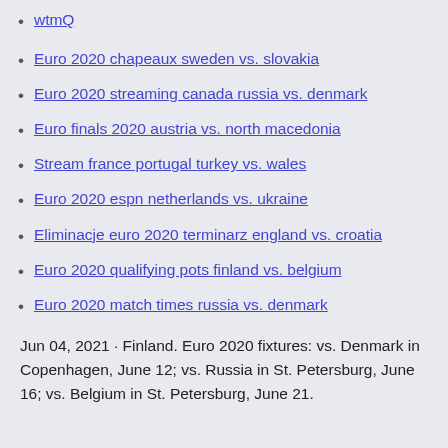wtmQ
Euro 2020 chapeaux sweden vs. slovakia
Euro 2020 streaming canada russia vs. denmark
Euro finals 2020 austria vs. north macedonia
Stream france portugal turkey vs. wales
Euro 2020 espn netherlands vs. ukraine
Eliminacje euro 2020 terminarz england vs. croatia
Euro 2020 qualifying pots finland vs. belgium
Euro 2020 match times russia vs. denmark
Jun 04, 2021 · Finland. Euro 2020 fixtures: vs. Denmark in Copenhagen, June 12; vs. Russia in St. Petersburg, June 16; vs. Belgium in St. Petersburg, June 21.